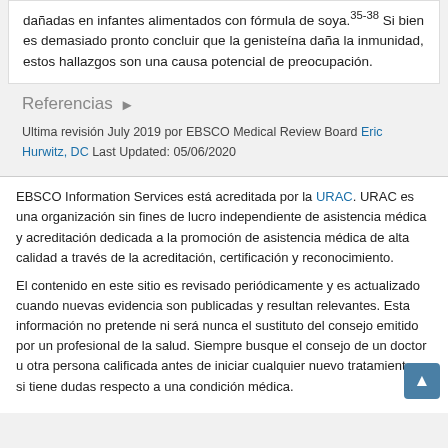dañadas en infantes alimentados con fórmula de soya.35-38 Si bien es demasiado pronto concluir que la genisteína daña la inmunidad, estos hallazgos son una causa potencial de preocupación.
Referencias ▶
Ultima revisión July 2019 por EBSCO Medical Review Board Eric Hurwitz, DC Last Updated: 05/06/2020
EBSCO Information Services está acreditada por la URAC. URAC es una organización sin fines de lucro independiente de asistencia médica y acreditación dedicada a la promoción de asistencia médica de alta calidad a través de la acreditación, certificación y reconocimiento.
El contenido en este sitio es revisado periódicamente y es actualizado cuando nuevas evidencia son publicadas y resultan relevantes. Esta información no pretende ni será nunca el sustituto del consejo emitido por un profesional de la salud. Siempre busque el consejo de un doctor u otra persona calificada antes de iniciar cualquier nuevo tratamiento, o si tiene dudas respecto a una condición médica.